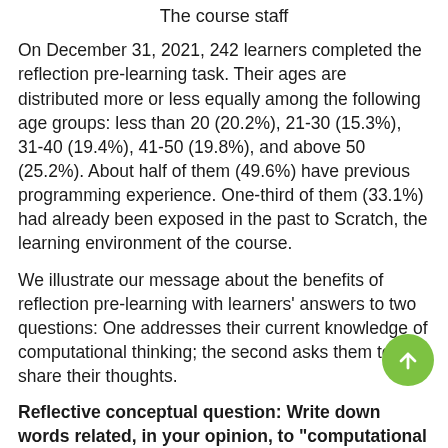The course staff
On December 31, 2021, 242 learners completed the reflection pre-learning task. Their ages are distributed more or less equally among the following age groups: less than 20 (20.2%), 21-30 (15.3%), 31-40 (19.4%), 41-50 (19.8%), and above 50 (25.2%). About half of them (49.6%) have previous programming experience. One-third of them (33.1%) had already been exposed in the past to Scratch, the learning environment of the course.
We illustrate our message about the benefits of reflection pre-learning with learners' answers to two questions: One addresses their current knowledge of computational thinking; the second asks them to share their thoughts.
Reflective conceptual question: Write down words related, in your opinion, to "computational thinking."
We present learners' answers to this question by